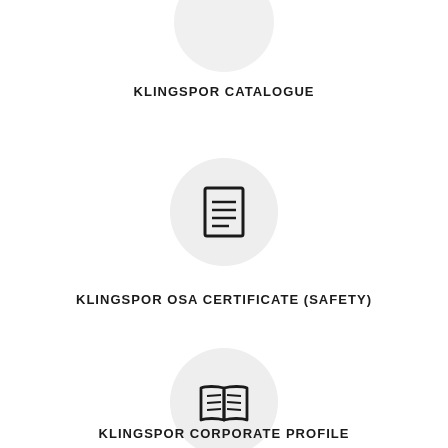[Figure (illustration): Partially visible circular icon at top of page]
KLINGSPOR CATALOGUE
[Figure (illustration): Circle icon with document/list symbol representing catalogue]
KLINGSPOR OSA CERTIFICATE (SAFETY)
[Figure (illustration): Circle icon with open book symbol representing corporate profile]
KLINGSPOR CORPORATE PROFILE